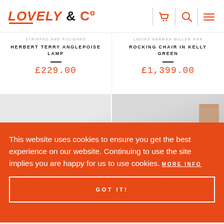LOVELY & Co
STRIPPED AND POLISHED HERBERT TERRY ANGLEPOISE LAMP
£229.00
LADIES HERMAN MILLER RAR ROCKING CHAIR IN KELLY GREEN
£1,399.00
[Figure (photo): Left product photo area - greyed out product image]
[Figure (photo): Right product photo area - chair visible on right side]
This website uses cookies to ensure you get the best experience on our website. Continuing to use the site implies you are happy for us to use cookies. MORE INFO
GOT IT!
£89.00
NGTH AND